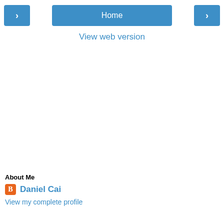< Home >
View web version
About Me
Daniel Cai
View my complete profile